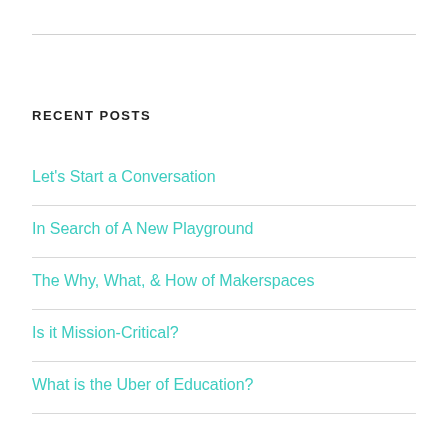RECENT POSTS
Let's Start a Conversation
In Search of A New Playground
The Why, What, & How of Makerspaces
Is it Mission-Critical?
What is the Uber of Education?